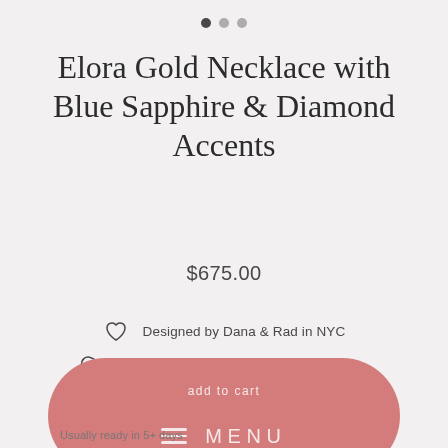[Figure (other): Three pagination dots at top, first dot filled dark, others light gray]
Elora Gold Necklace with Blue Sapphire & Diamond Accents
$675.00
Designed by Dana & Rad in NYC
Recycled metals & conflict free diamonds
7 day Return Policy
[Figure (other): Pink rounded button with 'Add to cart' text and hamburger menu icon with MENU label]
Usually ready in 5+ days